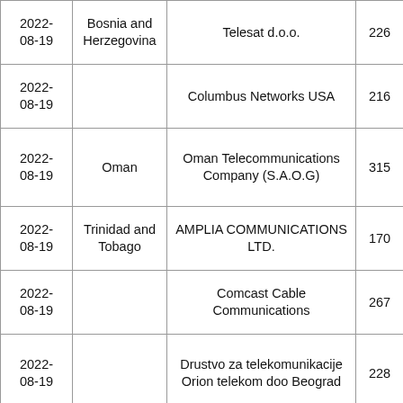| 2022-08-19 | Bosnia and Herzegovina | Telesat d.o.o. | 226 |
| 2022-08-19 |  | Columbus Networks USA | 216 |
| 2022-08-19 | Oman | Oman Telecommunications Company (S.A.O.G) | 315 |
| 2022-08-19 | Trinidad and Tobago | AMPLIA COMMUNICATIONS LTD. | 170 |
| 2022-08-19 |  | Comcast Cable Communications | 267 |
| 2022-08-19 |  | Drustvo za telekomunikacije Orion telekom doo Beograd | 228 |
| 2022- | Palestine | Mark Ab And LTD. | 334 |